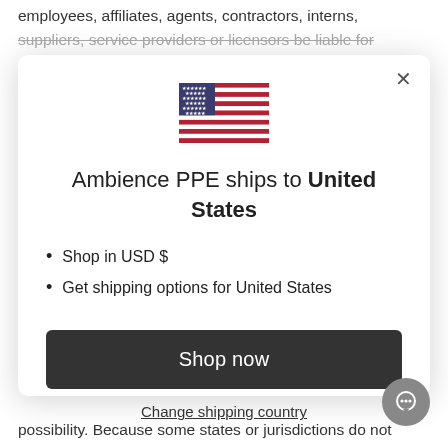employees, affiliates, agents, contractors, interns, suppliers, service providers or licensors be liable for
[Figure (illustration): US flag icon — stars field on blue canton, red and white horizontal stripes]
Ambience PPE ships to United States
Shop in USD $
Get shipping options for United States
Shop now
Change shipping country
possibility. Because some states or jurisdictions do not